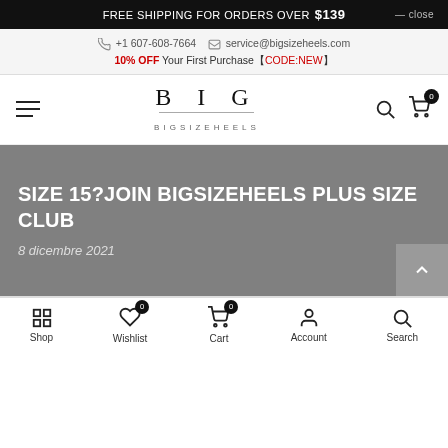FREE SHIPPING FOR ORDERS OVER $139  — close
+1 607-608-7664   service@bigsizeheels.com
10% OFF Your First Purchase【CODE:NEW】
[Figure (logo): BIG BIGSIZEHEELS logo with hamburger menu, search and cart icons]
SIZE 15?JOIN BIGSIZEHEELS PLUS SIZE CLUB
8 dicembre 2021
Shop  Wishlist 0  Cart 0  Account  Search